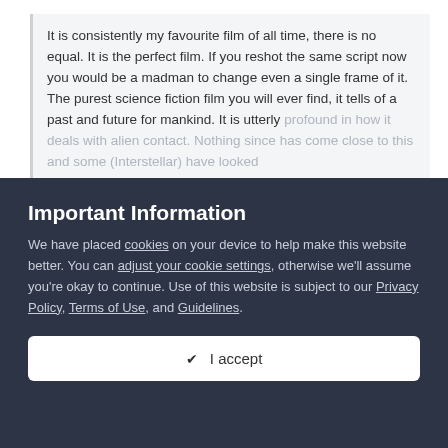It is consistently my favourite film of all time, there is no equal. It is the perfect film. If you reshot the same script now you would be a madman to change even a single frame of it. The purest science fiction film you will ever find, it tells of a past and future for mankind. It is utterly profound in how it deals with alien contact. Nothing since has come close to this and some (Interstellar) have looked
Expand ▾
I'm not nitpicking, just pointing out that saying "it hasn't aged" is silly. Because it has. Clearly. In fact one of the worst scenes isn't a space one. For me it's a studio scene with a matte painting in
Important Information
We have placed cookies on your device to help make this website better. You can adjust your cookie settings, otherwise we'll assume you're okay to continue. Use of this website is subject to our Privacy Policy, Terms of Use, and Guidelines.
✔ I accept